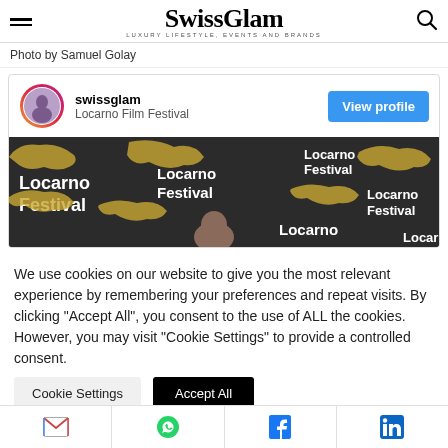SwissGlam — LUXURY LIFESTYLE, EVENTS AND BRANDS
Photo by Samuel Golay
[Figure (screenshot): Instagram embed card showing swissglam account with Locarno Film Festival caption, profile avatar, View profile button, and a photo of the Locarno Film Festival step-and-repeat banner with golden leopard logos]
We use cookies on our website to give you the most relevant experience by remembering your preferences and repeat visits. By clicking "Accept All", you consent to the use of ALL the cookies. However, you may visit "Cookie Settings" to provide a controlled consent.
Gmail | WhatsApp | Facebook | LinkedIn